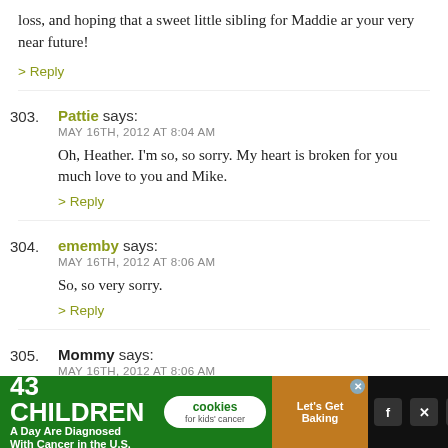loss, and hoping that a sweet little sibling for Maddie ar your very near future!
> Reply
303. Pattie says: MAY 16TH, 2012 AT 8:04 AM — Oh, Heather. I'm so, so sorry. My heart is broken for you much love to you and Mike.
> Reply
304. ememby says: MAY 16TH, 2012 AT 8:06 AM — So, so very sorry.
> Reply
305. Mommy says: MAY 16TH, 2012 AT 8:06 AM — Love to you all. I'm so sorry sweet Mama Sophy
[Figure (screenshot): Advertisement banner: 43 CHILDREN A Day Are Diagnosed With Cancer in the U.S. | cookies for kids' cancer | Let's Get Baking]